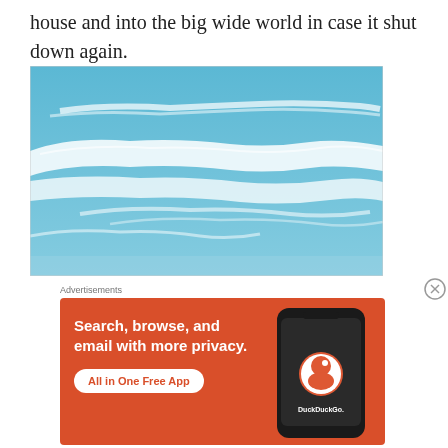house and into the big wide world in case it shut down again.
[Figure (photo): Blue sky with wispy white cirrus clouds stretching across the frame]
Advertisements
[Figure (infographic): DuckDuckGo advertisement on orange background: 'Search, browse, and email with more privacy. All in One Free App' with DuckDuckGo logo on a smartphone graphic]